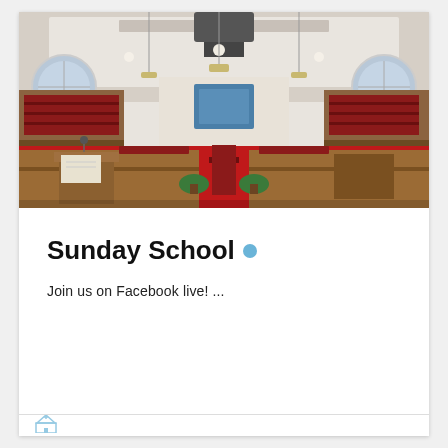[Figure (photo): Interior of a church sanctuary with red pews/seating arranged in a semicircle around an altar area, upper balcony visible, large circular windows on sides, chandelier lighting, wooden podium and furniture at the front.]
Sunday School
Join us on Facebook live! ...
[Figure (logo): Small church icon/logo at bottom left of card]